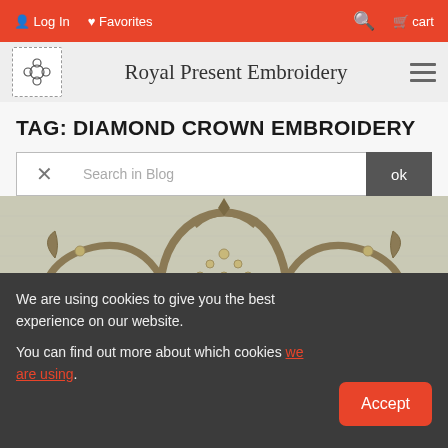Log In  Favorites  [search icon]  cart
Royal Present Embroidery
TAG: DIAMOND CROWN EMBROIDERY
Search in Blog
[Figure (photo): Close-up photograph of a diamond crown embroidery design on light grey fabric, showing a decorative crown with heart shapes, loops, and beaded/gem accents in gold/brown thread.]
We are using cookies to give you the best experience on our website.

You can find out more about which cookies we are using.